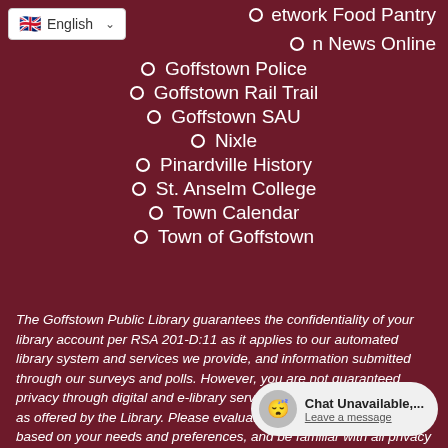[Figure (screenshot): Language selector dropdown showing UK flag and 'English' with dropdown arrow]
etwork Food Pantry
n News Online
Goffstown Police
Goffstown Rail Trail
Goffstown SAU
Nixle
Pinardville History
St. Anselm College
Town Calendar
Town of Goffstown
The Goffstown Public Library guarantees the confidentiality of your library account per RSA 201-D:11 as it applies to our automated library system and services we provide, and information submitted through our surveys and polls. However, you are not guaranteed privacy through digital and e-library services from third-party vendors as offered by the Library. Please evaluate these sites and apps based on your needs and preferences, and be familiar with all privacy policies.
[Figure (screenshot): Chat Unavailable widget with sleeping face emoji, saying 'Chat Unavailable,... Leave a message']